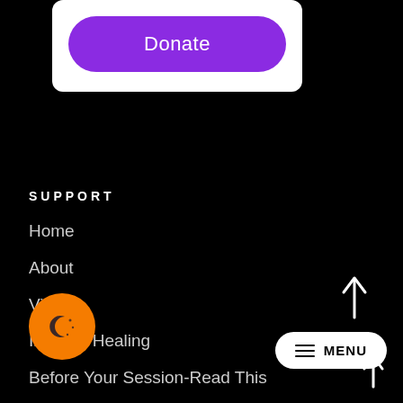[Figure (screenshot): Donate button card: white rounded card with a purple pill-shaped Donate button]
SUPPORT
Home
About
Video's
Intuitive Healing
Before Your Session-Read This
...ony
Spiritual Training
[Figure (illustration): Orange circle button with moon and dots icon (dark mode toggle)]
[Figure (screenshot): White pill-shaped MENU button with hamburger lines icon]
[Figure (illustration): White upward arrow icon]
[Figure (illustration): White upward arrow icon (second, near bottom menu)]